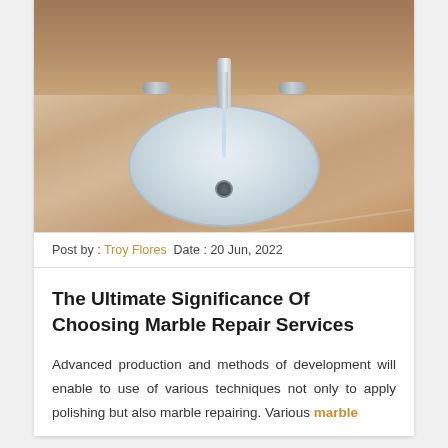[Figure (photo): Photo of a white oval undermount sink set in a beige marble countertop with chrome faucet and two handles, water running.]
Post by : Troy Flores  Date : 20 Jun, 2022
The Ultimate Significance Of Choosing Marble Repair Services
Advanced production and methods of development will enable to use of various techniques not only to apply polishing but also marble repairing. Various marble